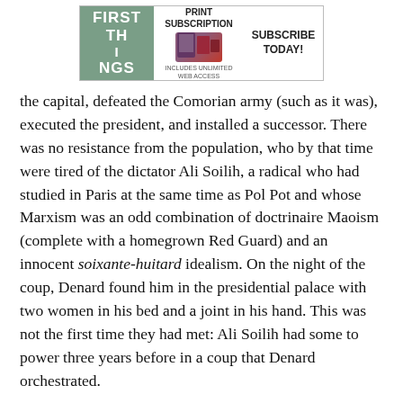[Figure (other): First Things magazine advertisement banner: Print Subscription includes unlimited web access. Subscribe Today!]
the capital, defeated the Comorian army (such as it was), executed the president, and installed a successor. There was no resistance from the population, who by that time were tired of the dictator Ali Soilih, a radical who had studied in Paris at the same time as Pol Pot and whose Marxism was an odd combination of doctrinaire Maoism (complete with a homegrown Red Guard) and an innocent soixante-huitard idealism. On the night of the coup, Denard found him in the presidential palace with two women in his bed and a joint in his hand. This was not the first time they had met: Ali Soilih had some to power three years before in a coup that Denard orchestrated.
As for the Seychelles, its army was also weak: its leader